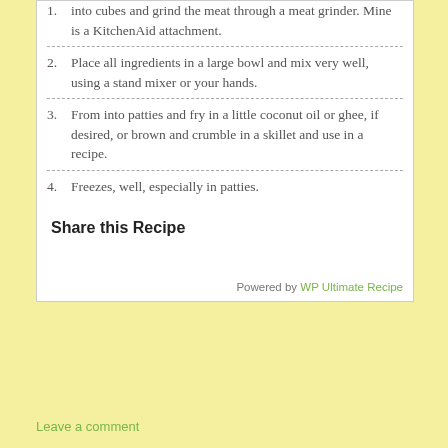1. If you are using pork shoulder, cut the meat into cubes and grind the meat through a meat grinder. Mine is a KitchenAid attachment.
2. Place all ingredients in a large bowl and mix very well, using a stand mixer or your hands.
3. From into patties and fry in a little coconut oil or ghee, if desired, or brown and crumble in a skillet and use in a recipe.
4. Freezes, well, especially in patties.
Share this Recipe
Powered by WP Ultimate Recipe
Leave a comment